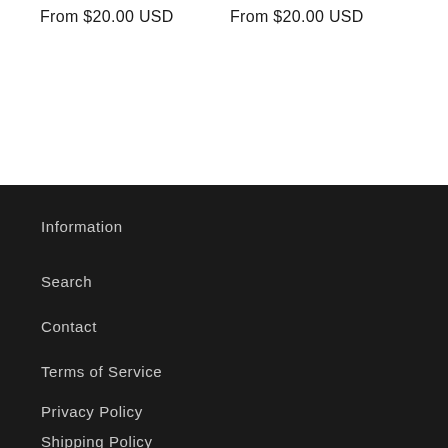From $20.00 USD
From $20.00 USD
Information
Search
Contact
Terms of Service
Privacy Policy
Shipping Policy
Refund Policy